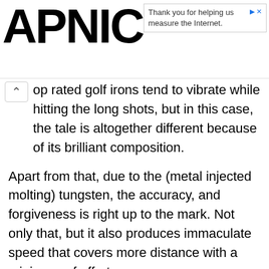[Figure (logo): APNIC logo in large bold black text]
Thank you for helping us measure the Internet.
op rated golf irons tend to vibrate while hitting the long shots, but in this case, the tale is altogether different because of its brilliant composition.
Apart from that, due to the (metal injected molting) tungsten, the accuracy, and forgiveness is right up to the mark. Not only that, but it also produces immaculate speed that covers more distance with a minimum of effort.
When it comes to the look, it has a decent size head with beautiful grey and green color combination. Overall a well-balanced sleek construction that reflects plenty of class.